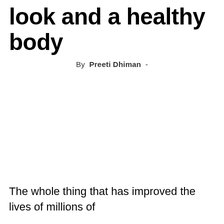look and a healthy body
By  Preeti Dhiman  -
The whole thing that has improved the lives of millions of